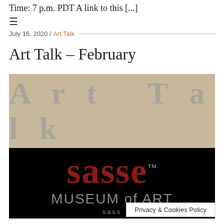Time: 7 p.m. PDT A link to this [...]
≡
July 16, 2020 / Art Talk
Art Talk – February
[Figure (logo): Art Talk banner with tan/beige background and 'Art Talk' written in large grey spaced letters, below which is the Sasse Museum of Art logo on black background with red 'sasse' text and grey 'MUSEUM of ART' text and small 'sasse' text below.]
Privacy & Cookies Policy